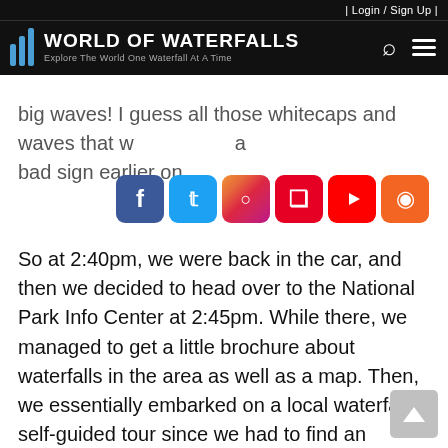| Login / Sign Up |
World of Waterfalls — Explore The World One Waterfall At A Time
big waves! I guess all those whitecaps and waves that we were in w a bad sign earlier on.
So at 2:40pm, we were back in the car, and then we decided to head over to the National Park Info Center at 2:45pm. While there, we managed to get a little brochure about waterfalls in the area as well as a map. Then, we essentially embarked on a local waterfalls self-guided tour since we had to find an alternate to the Pictured Rocks boat